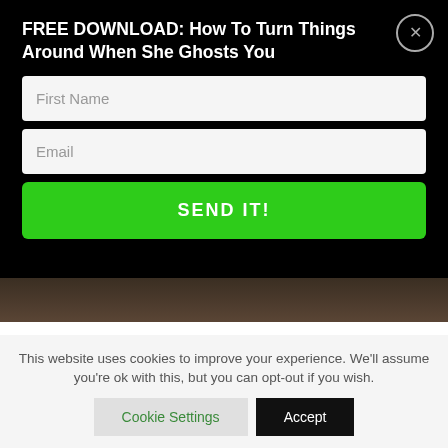FREE DOWNLOAD: How To Turn Things Around When She Ghosts You
First Name
Email
SEND IT!
[Figure (photo): A dark brown textured surface, likely a wooden background, forming an image strip behind the article header.]
New Military Night Vision Cameras Give Provides Color Technology (Video)
BY STAFF
This website uses cookies to improve your experience. We'll assume you're ok with this, but you can opt-out if you wish.
Cookie Settings
Accept